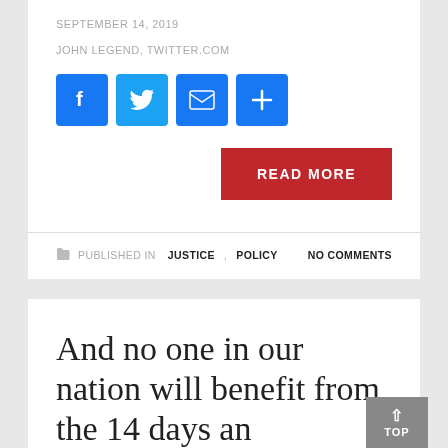SEPTEMBER 14, 2019
JOHN LEGEND, TWITTER.COM
[Figure (other): Social share icons: Facebook, Twitter, Email, Plus/Share buttons in blue]
READ MORE
PUBLISHED IN JUSTICE, POLICY   NO COMMENTS
And no one in our nation will benefit from the 14 days an